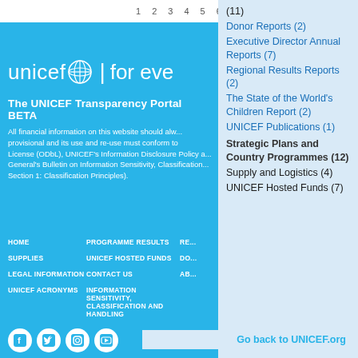1 2 3 4 5 6 7 8 9
(11)
Donor Reports (2)
Executive Director Annual Reports (7)
Regional Results Reports (2)
The State of the World's Children Report (2)
UNICEF Publications (1)
Strategic Plans and Country Programmes (12)
Supply and Logistics (4)
UNICEF Hosted Funds (7)
[Figure (logo): UNICEF logo with globe icon and text 'unicef | for every child']
The UNICEF Transparency Portal BETA
All financial information on this website should always be considered provisional and its use and re-use must conform to the Open Database License (ODbL), UNICEF's Information Disclosure Policy and the Secretary General's Bulletin on Information Sensitivity, Classification and Handling (Section 1: Classification Principles).
HOME
SUPPLIES
LEGAL INFORMATION
UNICEF ACRONYMS
PROGRAMME RESULTS
UNICEF HOSTED FUNDS
CONTACT US
INFORMATION SENSITIVITY, CLASSIFICATION AND HANDLING
RE...
DO...
AB...
[Figure (illustration): Social media icons: Facebook, Twitter, Instagram, YouTube]
Go back to UNICEF.org